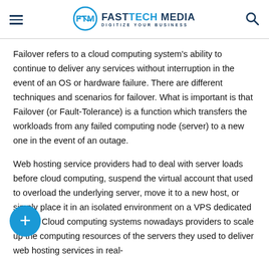FASTTECH MEDIA — DIGITIZE YOUR BUSINESS
Failover refers to a cloud computing system's ability to continue to deliver any services without interruption in the event of an OS or hardware failure. There are different techniques and scenarios for failover. What is important is that Failover (or Fault-Tolerance) is a function which transfers the workloads from any failed computing node (server) to a new one in the event of an outage.
Web hosting service providers had to deal with server loads before cloud computing, suspend the virtual account that used to overload the underlying server, move it to a new host, or simply place it in an isolated environment on a VPS dedicated server. Cloud computing systems nowadays providers to scale up the computing resources of the servers they used to deliver web hosting services in real-